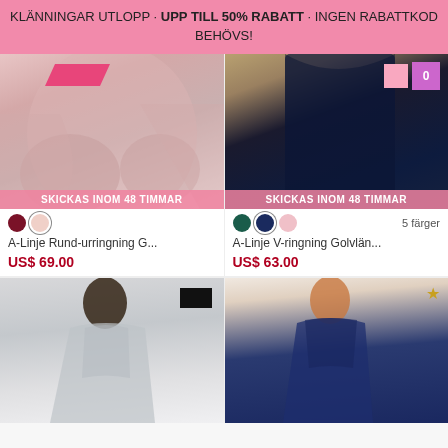KLÄNNINGAR UTLOPP · UPP TILL 50% RABATT · INGEN RABATTKOD BEHÖVS!
[Figure (photo): Pink/mauve A-line dress bottom hem on white background, with pink banner 'SKICKAS INOM 48 TIMMAR']
A-Linje Rund-urringning G...
US$ 69.00
[Figure (photo): Dark navy dress on tan/wood background, with pink banner 'SKICKAS INOM 48 TIMMAR', showing 5 colors]
A-Linje V-ringning Golvlän...
US$ 63.00
[Figure (photo): Silver/grey off-shoulder A-line dress on model with dark hair, light grey background]
[Figure (photo): Navy blue off-shoulder fitted dress on model with auburn hair, light background]